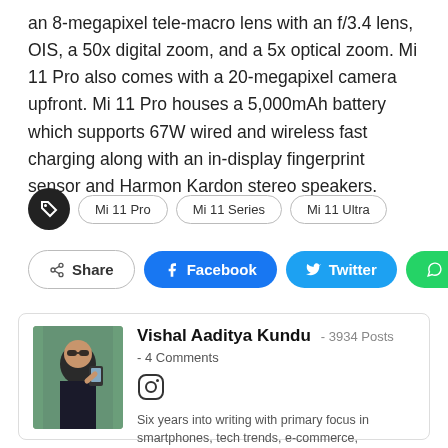an 8-megapixel tele-macro lens with an f/3.4 lens, OIS, a 50x digital zoom, and a 5x optical zoom. Mi 11 Pro also comes with a 20-megapixel camera upfront. Mi 11 Pro houses a 5,000mAh battery which supports 67W wired and wireless fast charging along with an in-display fingerprint sensor and Harmon Kardon stereo speakers.
Mi 11 Pro
Mi 11 Series
Mi 11 Ultra
Share | Facebook | Twitter | WhatsApp
Vishal Aaditya Kundu  -  3934 Posts
- 4 Comments
Six years into writing with primary focus in smartphones, tech trends, e-commerce,